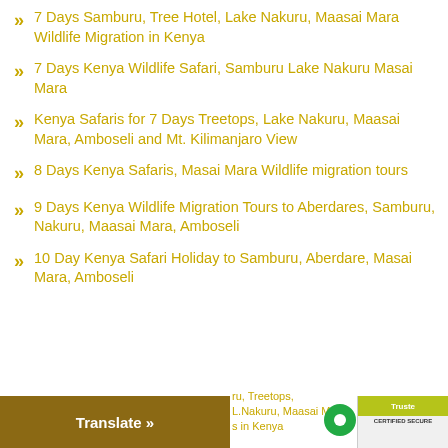7 Days Samburu, Tree Hotel, Lake Nakuru, Maasai Mara Wildlife Migration in Kenya
7 Days Kenya Wildlife Safari, Samburu Lake Nakuru Masai Mara
Kenya Safaris for 7 Days Treetops, Lake Nakuru, Maasai Mara, Amboseli and Mt. Kilimanjaro View
8 Days Kenya Safaris, Masai Mara Wildlife migration tours
9 Days Kenya Wildlife Migration Tours to Aberdares, Samburu, Nakuru, Maasai Mara, Amboseli
10 Day Kenya Safari Holiday to Samburu, Aberdare, Masai Mara, Amboseli
Translate » ...ru, Treetops, L.Nakuru, Maasai M... ...s in Kenya